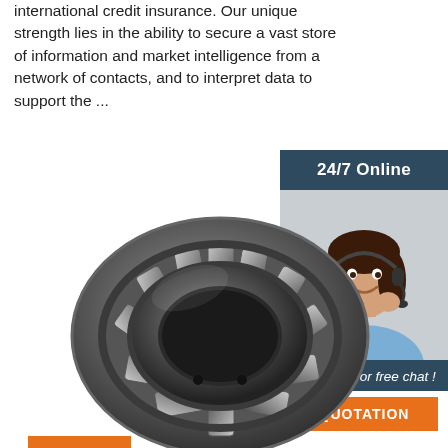international credit insurance. Our unique strength lies in the ability to secure a vast store of information and market intelligence from a network of contacts, and to interpret data to support the ...
Get Price
[Figure (photo): Customer service representative wearing headset, smiling, with '24/7 Online' header and 'Click here for free chat!' and 'QUOTATION' button sidebar widget]
[Figure (photo): Industrial roller bearing, silver/dark metallic cylindrical roller bearing component]